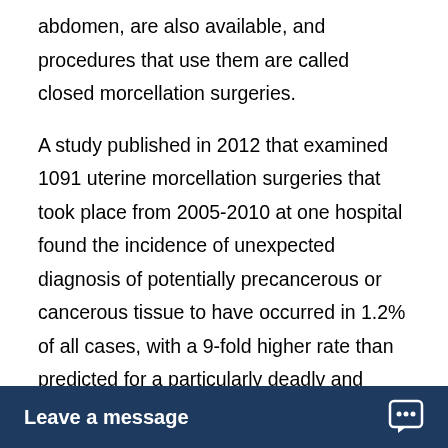abdomen, are also available, and procedures that use them are called closed morcellation surgeries.
A study published in 2012 that examined 1091 uterine morcellation surgeries that took place from 2005-2010 at one hospital found the incidence of unexpected diagnosis of potentially precancerous or cancerous tissue to have occurred in 1.2% of all cases, with a 9-fold higher rate than predicted for a particularly deadly and aggressive cancer, leiomyosarcoma. All of the cases that had atypical or cancerous cells were found in women who had undergone electric power morcellation laparoscopic surgery as opposed to manual morcellation (when a surgeon manually cuts